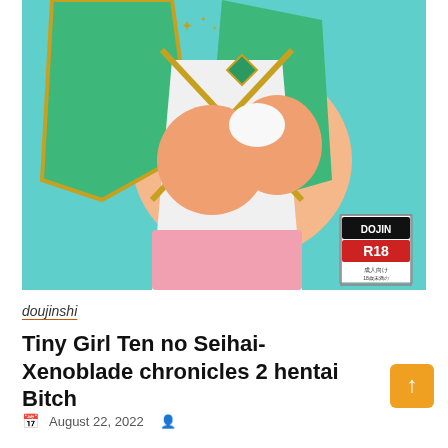[Figure (illustration): Anime/manga style illustration cover of a doujinshi featuring a female character with blonde hair wearing green and white armor/costume with gold trim. Text in upper left reads 'TENNO SEIHAI' with star decorations. A 'DOJIN R18' rating badge appears in the lower right corner.]
doujinshi
Tiny Girl Ten no Seihai- Xenoblade chronicles 2 hentai Bitch
August 22, 2022